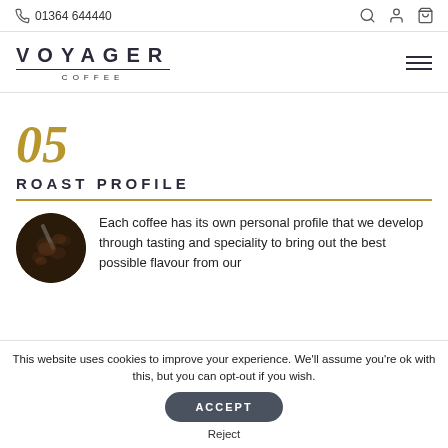01364 644440
[Figure (logo): Voyager Coffee logo with brand name and hamburger menu icon]
05
ROAST PROFILE
[Figure (photo): Circular cropped photo of coffee beans and a coffee scoop on dark background]
Each coffee has its own personal profile that we develop through tasting and speciality to bring out the best possible flavour from our
This website uses cookies to improve your experience. We'll assume you're ok with this, but you can opt-out if you wish.
ACCEPT
Reject